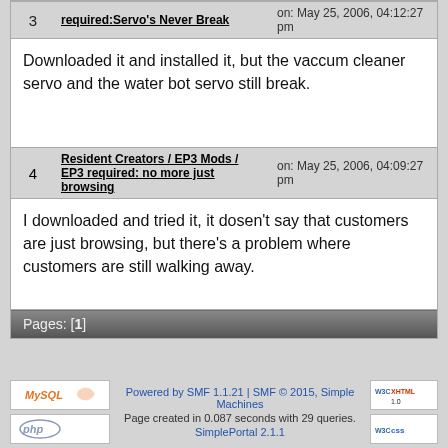| # | Topic/Author | Date |
| --- | --- | --- |
| 3 | required:Servo's Never Break | on: May 25, 2006, 04:12:27 pm |
|  | Downloaded it and installed it, but the vaccum cleaner servo and the water bot servo still break. |  |
| 4 | Resident Creators / EP3 Mods / EP3 required: no more just browsing | on: May 25, 2006, 04:09:27 pm |
|  | I downloaded and tried it, it dosen't say that customers are just browsing, but there's a problem where customers are still walking away. |  |
Pages: [1]
[Figure (logo): MySQL logo]
[Figure (logo): PHP logo]
[Figure (logo): W3C XHTML 1.0 badge]
[Figure (logo): W3C CSS badge]
Powered by SMF 1.1.21 | SMF © 2015, Simple Machines
Page created in 0.087 seconds with 29 queries.
SimplePortal 2.1.1